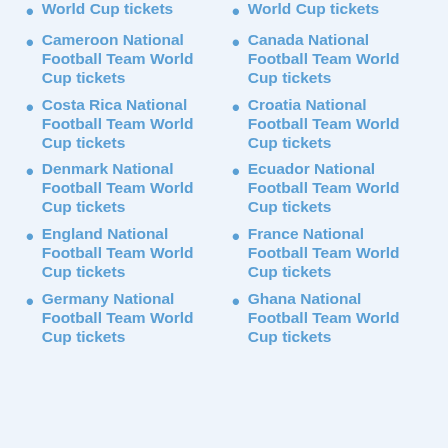World Cup tickets
World Cup tickets
Cameroon National Football Team World Cup tickets
Canada National Football Team World Cup tickets
Costa Rica National Football Team World Cup tickets
Croatia National Football Team World Cup tickets
Denmark National Football Team World Cup tickets
Ecuador National Football Team World Cup tickets
England National Football Team World Cup tickets
France National Football Team World Cup tickets
Germany National Football Team World Cup tickets
Ghana National Football Team World Cup tickets